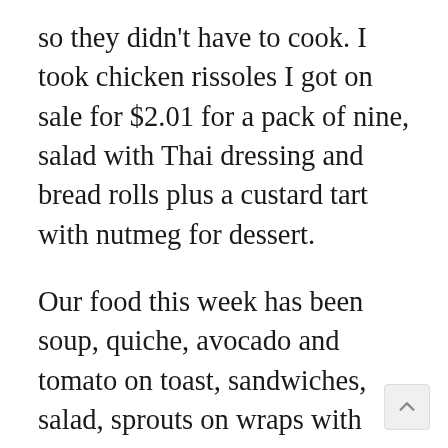so they didn't have to cook. I took chicken rissoles I got on sale for $2.01 for a pack of nine, salad with Thai dressing and bread rolls plus a custard tart with nutmeg for dessert.
Our food this week has been soup, quiche, avocado and tomato on toast, sandwiches, salad, sprouts on wraps with hommus or mixed in the salad, pizza, sandwiches, vegetables, mandarins from our tree, green apples, banana (received two free),